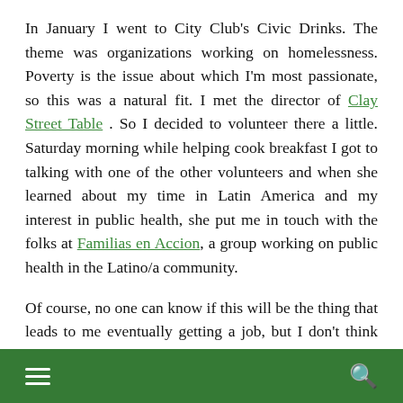In January I went to City Club's Civic Drinks. The theme was organizations working on homelessness. Poverty is the issue about which I'm most passionate, so this was a natural fit. I met the director of Clay Street Table . So I decided to volunteer there a little. Saturday morning while helping cook breakfast I got to talking with one of the other volunteers and when she learned about my time in Latin America and my interest in public health, she put me in touch with the folks at Familias en Accion, a group working on public health in the Latino/a community.
Of course, no one can know if this will be the thing that leads to me eventually getting a job, but I don't think that's the best way to think about things. For me, the point is that it opened up opportunities for service
≡  🔍